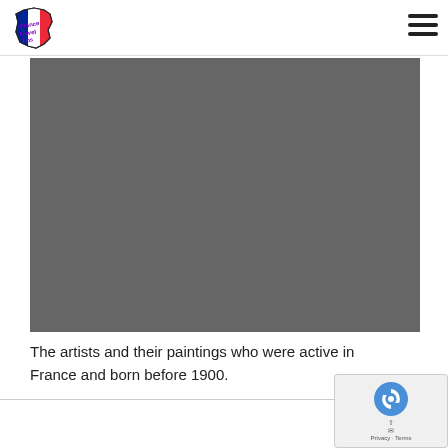France Travel Tips (logo with France map)
[Figure (photo): A large dark gray rectangular placeholder image area, representing a photo related to French artists and paintings.]
The artists and their paintings who were active in France and born before 1900.